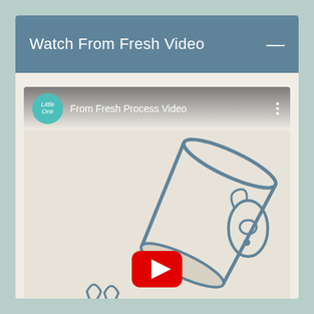Watch From Fresh Video
[Figure (screenshot): YouTube embedded video player showing 'From Fresh Process Video' with a teal/green channel avatar logo, channel name, three-dot menu icon, and a thumbnail illustration of a glass with a cartoon character. A red YouTube play button is visible at the bottom of the thumbnail.]